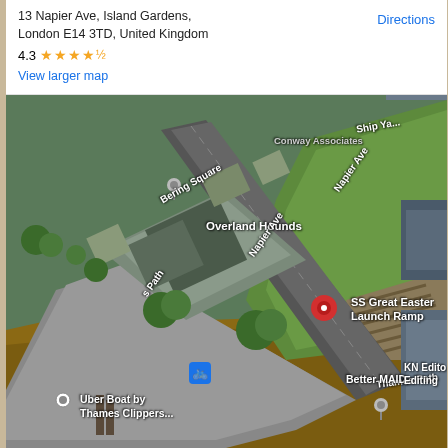[Figure (map): Google Maps satellite/aerial view screenshot showing 13 Napier Ave, Island Gardens, London E14 3TD. The map shows an overhead aerial view of the area with streets labeled including Napier Ave, Thames Path, Bering Square, and the Thames river at the bottom. Points of interest include SS Great Eastern Launch Ramp (red pin), Uber Boat by Thames Clippers, Overland Hounds, Better MAID, and KN Editing. An info panel at the top shows the address, 4.3 star rating, Directions link, and View larger map link.]
13 Napier Ave, Island Gardens, London E14 3TD, United Kingdom
4.3 ★★★★½
View larger map
Directions